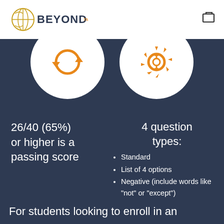Beyond 20
[Figure (illustration): Two circular icons on white circles: left shows orange circular arrows (refresh/repeat symbol), right shows orange gear with arrows (settings/process symbol), both on dark navy background]
26/40 (65%) or higher is a passing score
4 question types:
Standard
List of 4 options
Negative (include words like "not" or "except")
Missing word (new for ITIL 4)
For students looking to enroll in an